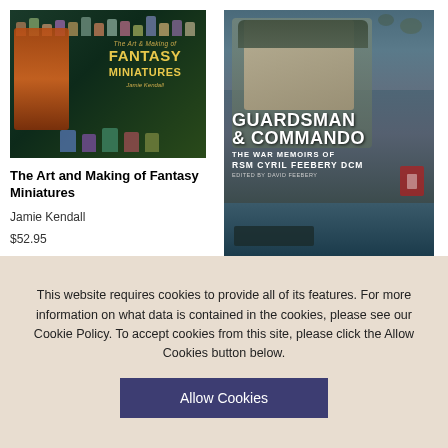[Figure (illustration): Book cover: The Art and Making of Fantasy Miniatures by Jamie Kendall. Dark teal background with painted fantasy miniature figures at top and large central creature. Gold title text.]
The Art and Making of Fantasy Miniatures
Jamie Kendall
$52.95
[Figure (illustration): Book cover: Guardsman & Commando – The War Memoirs of RSM Cyril Feebery DCM, edited by David Feebery. Shows WWII soldier portrait, parachutes, and a small boat scene. Bold white text.]
This website requires cookies to provide all of its features. For more information on what data is contained in the cookies, please see our Cookie Policy. To accept cookies from this site, please click the Allow Cookies button below.